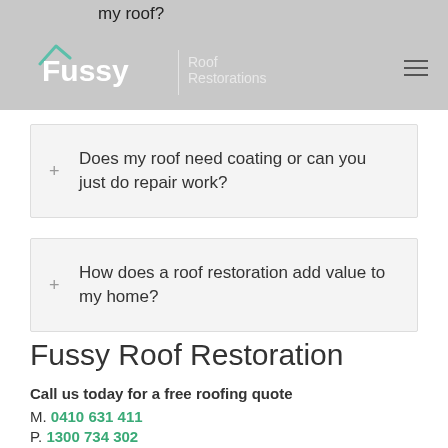my roof? | Fussy Roof Restorations
+ Does my roof need coating or can you just do repair work?
+ How does a roof restoration add value to my home?
Fussy Roof Restoration
Call us today for a free roofing quote
M. 0410 631 411
P. 1300 734 302